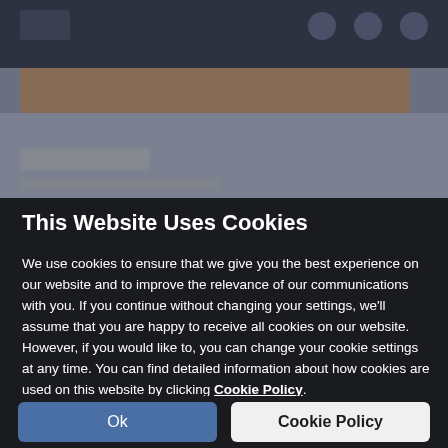[Figure (screenshot): Blurred website background with dark top navigation bar, brownish banner strip, and grey content area with blurred text]
This Website Uses Cookies
We use cookies to ensure that we give you the best experience on our website and to improve the relevance of our communications with you. If you continue without changing your settings, we'll assume that you are happy to receive all cookies on our website. However, if you would like to, you can change your cookie settings at any time. You can find detailed information about how cookies are used on this website by clicking Cookie Policy.
Ok
Cookie Policy